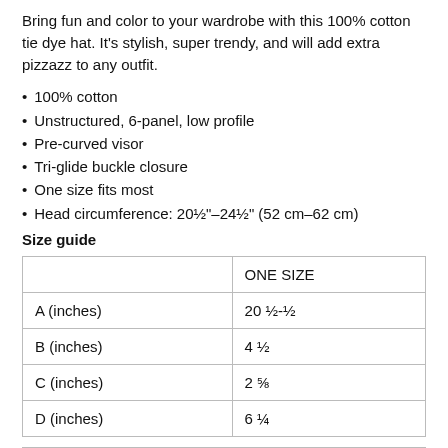Bring fun and color to your wardrobe with this 100% cotton tie dye hat. It's stylish, super trendy, and will add extra pizzazz to any outfit.
100% cotton
Unstructured, 6-panel, low profile
Pre-curved visor
Tri-glide buckle closure
One size fits most
Head circumference: 20½"–24½" (52 cm–62 cm)
Size guide
|  | ONE SIZE |
| --- | --- |
| A (inches) | 20 ½-½ |
| B (inches) | 4 ½ |
| C (inches) | 2 ⅝ |
| D (inches) | 6 ¼ |
FAQs